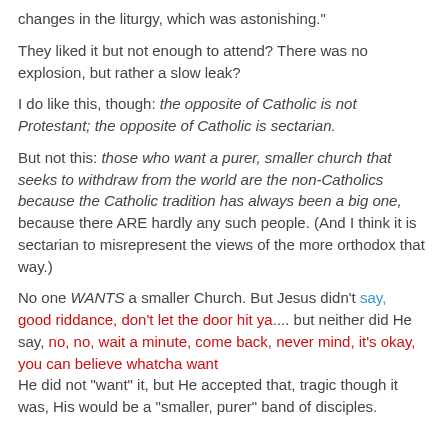changes in the liturgy, which was astonishing."
They liked it but not enough to attend? There was no explosion, but rather a slow leak?
I do like this, though: the opposite of Catholic is not Protestant; the opposite of Catholic is sectarian.
But not this: those who want a purer, smaller church that seeks to withdraw from the world are the non-Catholics because the Catholic tradition has always been a big one, because there ARE hardly any such people. (And I think it is sectarian to misrepresent the views of the more orthodox that way.)
No one WANTS a smaller Church. But Jesus didn't say, good riddance, don't let the door hit ya.... but neither did He say, no, no, wait a minute, come back, never mind, it's okay, you can believe whatcha want He did not "want" it, but He accepted that, tragic though it was, His would be a "smaller, purer" band of disciples.